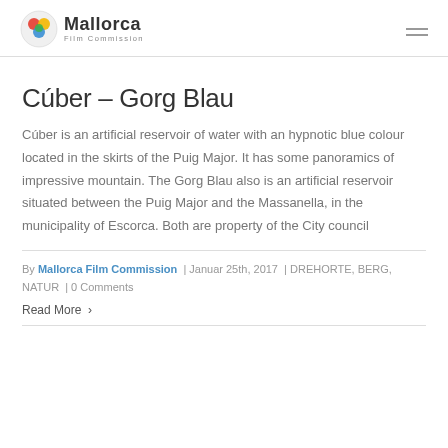Mallorca Film Commission
Cúber – Gorg Blau
Cúber is an artificial reservoir of water with an hypnotic blue colour located in the skirts of the Puig Major. It has some panoramics of impressive mountain. The Gorg Blau also is an artificial reservoir situated between the Puig Major and the Massanella, in the municipality of Escorca. Both are property of the City council
By Mallorca Film Commission | Januar 25th, 2017 | DREHORTE, BERG, NATUR | 0 Comments
Read More >